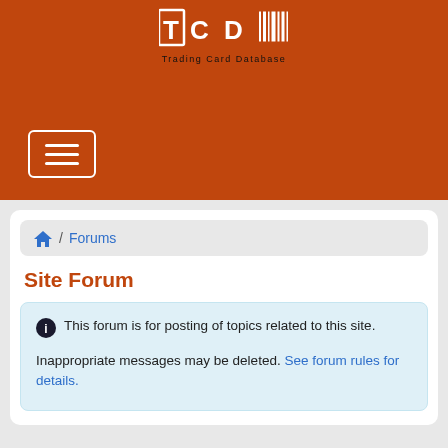[Figure (logo): TCDB Trading Card Database logo on orange/red header background with hamburger menu button]
🏠 / Forums
Site Forum
ℹ This forum is for posting of topics related to this site.

Inappropriate messages may be deleted. See forum rules for details.